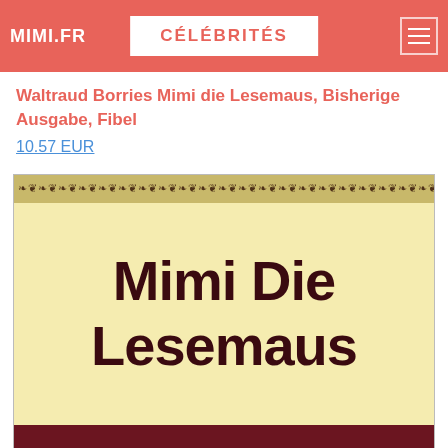MIMI.FR | CÉLÉBRITÉS
Waltraud Borries Mimi die Lesemaus, Bisherige Ausgabe, Fibel
10.57 EUR
[Figure (photo): Book cover showing 'Mimi Die Lesemaus' title text in dark maroon on a cream/yellow background, with a decorative border strip at top and a dark red strip at bottom.]